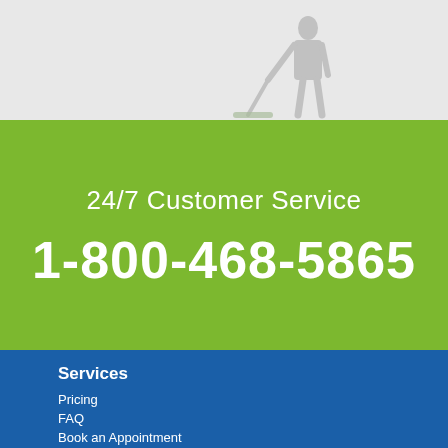[Figure (photo): Silhouette of a worker/janitor sweeping with a mop, shown in light gray against a light gray background.]
24/7 Customer Service
1-800-468-5865
Services
Pricing
FAQ
Book an Appointment